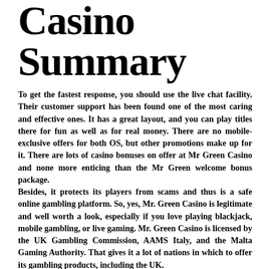Casino Summary
To get the fastest response, you should use the live chat facility. Their customer support has been found one of the most caring and effective ones. It has a great layout, and you can play titles there for fun as well as for real money. There are no mobile-exclusive offers for both OS, but other promotions make up for it. There are lots of casino bonuses on offer at Mr Green Casino and none more enticing than the Mr Green welcome bonus package.
Besides, it protects its players from scams and thus is a safe online gambling platform. So, yes, Mr. Green Casino is legitimate and well worth a look, especially if you love playing blackjack, mobile gambling, or live gaming. Mr. Green Casino is licensed by the UK Gambling Commission, AAMS Italy, and the Malta Gaming Authority. That gives it a lot of nations in which to offer its gambling products, including the UK.